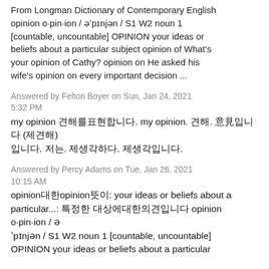From Longman Dictionary of Contemporary English opinion o·pin·ion / əˈpɪnjən / S1 W2 noun 1 [countable, uncountable] OPINION your ideas or beliefs about a particular subject opinion of What's your opinion of Cathy? opinion on He asked his wife's opinion on every important decision ...
Answered by Felton Boyer on Sun, Jan 24, 2021 5:32 PM
my opinion 견해를표현합니다. my opinion. 견해. 意見입니다 (제견해) 입니다. 저는. 제생각하다. 제생각입니다.
Answered by Percy Adams on Tue, Jan 26, 2021 10:15 AM
opinion대한opinion뜻이: your ideas or beliefs about a particular...: 특정한 대상에대한의견입니다 opinion o·pin·ion / əˈpɪnjən / S1 W2 noun 1 [countable, uncountable] OPINION your ideas or beliefs about a particular